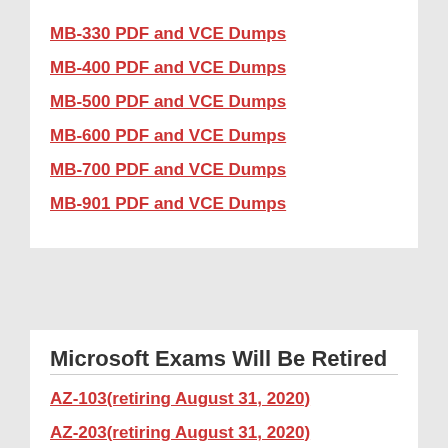MB-330 PDF and VCE Dumps
MB-400 PDF and VCE Dumps
MB-500 PDF and VCE Dumps
MB-600 PDF and VCE Dumps
MB-700 PDF and VCE Dumps
MB-901 PDF and VCE Dumps
Microsoft Exams Will Be Retired
AZ-103(retiring August 31, 2020)
AZ-203(retiring August 31, 2020)
AZ-300(retiring August 31, 2020)